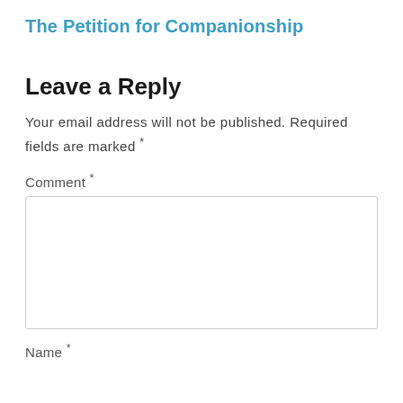The Petition for Companionship
Leave a Reply
Your email address will not be published. Required fields are marked *
Comment *
Name *